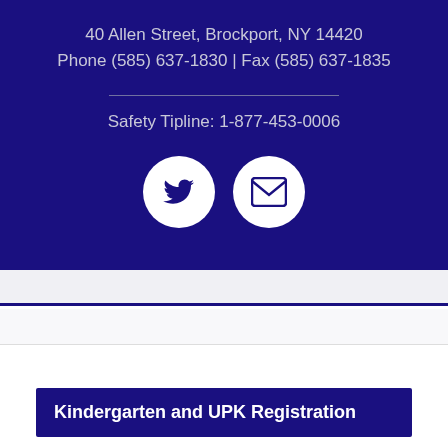40 Allen Street, Brockport, NY 14420
Phone (585) 637-1830 | Fax (585) 637-1835
Safety Tipline: 1-877-453-0006
[Figure (illustration): Two white circular icon buttons on dark blue background: a Twitter bird icon and an envelope/email icon]
Kindergarten and UPK Registration